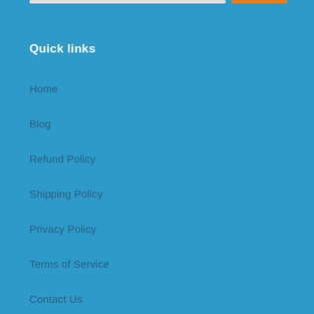Quick links
Home
Blog
Refund Policy
Shipping Policy
Privacy Policy
Terms of Service
Contact Us